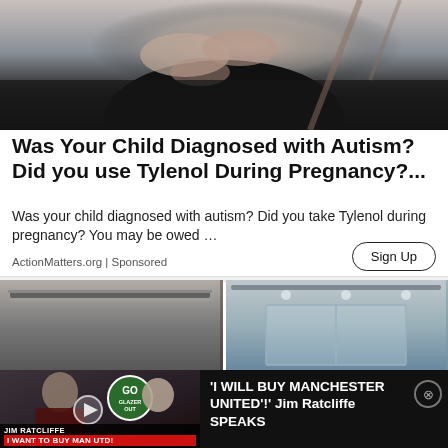[Figure (photo): Photo of a pregnant woman's torso, hands clasped together, wearing dark clothing, with a blurred background.]
Was Your Child Diagnosed with Autism? Did you use Tylenol During Pregnancy?...
Was your child diagnosed with autism? Did you take Tylenol during pregnancy? You may be owed …
ActionMatters.org | Sponsored
Sign Up
[Figure (photo): Two side-by-side news video thumbnails showing indoor/event scenes.]
[Figure (photo): Video thumbnail showing Jim Ratcliffe with crowd protesters holding GO sign, and overlay text 'JIM RATCLIFFE - I WANT TO BUY MAN UTD!' with headline: 'I WILL BUY MANCHESTER UNITED'!' Jim Ratcliffe SPEAKS]